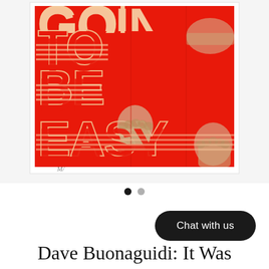[Figure (illustration): Artwork poster with bright red background. Large bold red text reads 'GOING TO BE EASY' overlaid on vintage-style beige/cream photographic images of raised fists and bound wrists/ankles. The artwork is displayed in a white frame/mount. Partial text 'GOING' is cropped at top. Full visible text: 'TO BE EASY'.]
[Figure (other): Pagination dots: one filled dark circle (active) and one grey circle (inactive), indicating image carousel position 1 of 2.]
Chat with us
Dave Buonaguidi: It Was